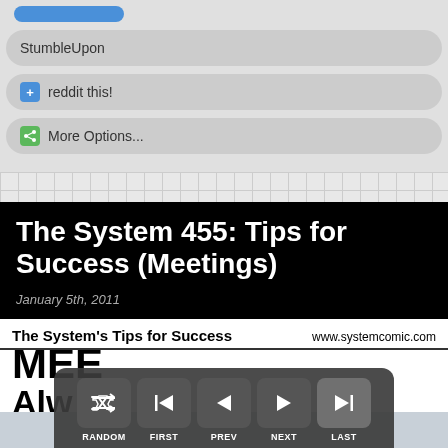[Figure (screenshot): Social sharing buttons: StumbleUpon pill button, Reddit 'reddit this!' pill button with blue plus icon, More Options pill button with green share icon]
The System 455: Tips for Success (Meetings)
January 5th, 2011
[Figure (screenshot): Webcomic strip header showing 'The System's Tips for Success' and 'www.systemcomic.com', with large bold text 'MEE' and 'Alw' partially visible]
[Figure (screenshot): Navigation overlay bar with five buttons: RANDOM (shuffle icon), FIRST (skip-to-start icon), PREV (left arrow), NEXT (right arrow), LAST (skip-to-end arrow)]